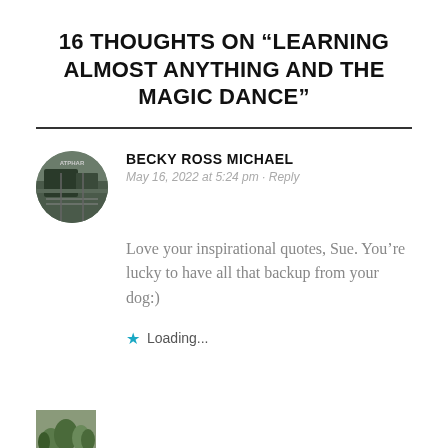16 THOUGHTS ON “LEARNING ALMOST ANYTHING AND THE MAGIC DANCE”
BECKY ROSS MICHAEL
May 16, 2022 at 5:24 pm · Reply
Love your inspirational quotes, Sue. You’re lucky to have all that backup from your dog:)
★ Loading...